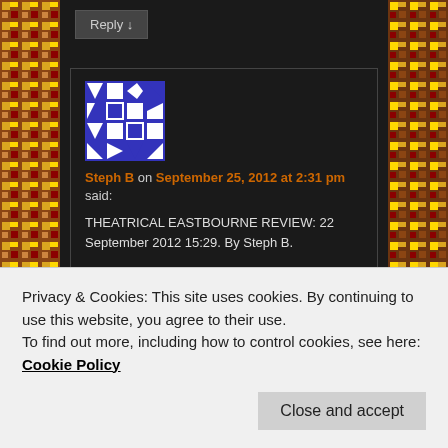[Figure (screenshot): Decorative left sidebar with ornate golden/brown mosaic pattern]
[Figure (screenshot): Decorative right sidebar with ornate golden/brown mosaic pattern]
Reply ↓
[Figure (illustration): Purple and white geometric avatar for user Steph B]
Steph B on September 25, 2012 at 2:31 pm said:
THEATRICAL EASTBOURNE REVIEW: 22 September 2012 15:29. By Steph B.
Snared is primarily a strong piece of theatre,
Privacy & Cookies: This site uses cookies. By continuing to use this website, you agree to their use.
To find out more, including how to control cookies, see here: Cookie Policy
Close and accept